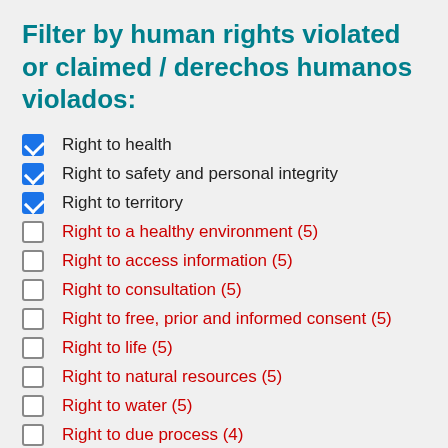Filter by human rights violated or claimed / derechos humanos violados:
Right to health (checked)
Right to safety and personal integrity (checked)
Right to territory (checked)
Right to a healthy environment (5)
Right to access information (5)
Right to consultation (5)
Right to free, prior and informed consent (5)
Right to life (5)
Right to natural resources (5)
Right to water (5)
Right to due process (4)
Right to self-determination (4)